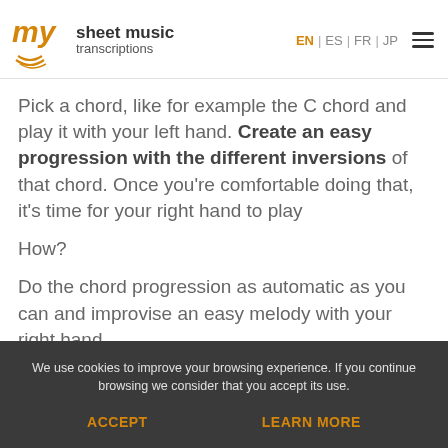my sheet music transcriptions | EN | ES | FR | JP
Pick a chord, like for example the C chord and play it with your left hand. Create an easy progression with the different inversions of that chord. Once you’re comfortable doing that, it’s time for your right hand to play
How?
Do the chord progression as automatic as you can and improvise an easy melody with your right hand.
We use cookies to improve your browsing experience. If you continue browsing we consider that you accept its use.
ACCEPT
LEARN MORE